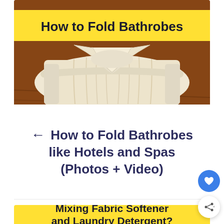[Figure (photo): A white folded bathrobe placed on a wooden table surface, with a yellow banner overlay at the top reading 'How to Fold Bathrobes' in bold black text]
← How to Fold Bathrobes like Hotels and Spas (Photos + Video)
[Figure (photo): Bottom card with yellow background showing title 'Mixing Fabric Softener and Laundry Detergent?' in bold black text, partially visible]
[Figure (other): Blue circular heart icon floating action button]
[Figure (other): White circular share icon floating action button]